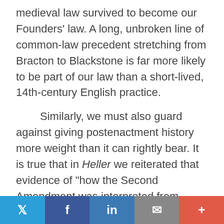medieval law survived to become our Founders' law. A long, unbroken line of common-law precedent stretching from Bracton to Blackstone is far more likely to be part of our law than a short-lived, 14th-century English practice.
Similarly, we must also guard against giving postenactment history more weight than it can rightly bear. It is true that in Heller we reiterated that evidence of "how the Second Amendment was interpreted from immediately after its ratification through the end of the 19th century" represented a "critical tool of constitutional interpretation." 554 U. S., at 605. We therefore examined "a variety of legal and other sources to determine the public understanding of [the Second Amendment] after its . . . ratification." Ibid. And, in other contexts, we have explained that " 'a regular course of practice' can 'liquidate & settle the meaning of ' disputed or indeterminate 'terms & phrases' " in the Constitution
Twitter | Facebook | LinkedIn | Email | +